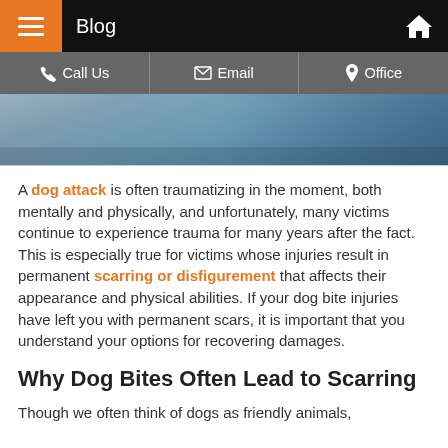Blog
[Figure (photo): Close-up photo showing a person's lower body, blurred background with blue tones]
A dog attack is often traumatizing in the moment, both mentally and physically, and unfortunately, many victims continue to experience trauma for many years after the fact. This is especially true for victims whose injuries result in permanent scarring or disfigurement that affects their appearance and physical abilities. If your dog bite injuries have left you with permanent scars, it is important that you understand your options for recovering damages.
Why Dog Bites Often Lead to Scarring
Though we often think of dogs as friendly animals,